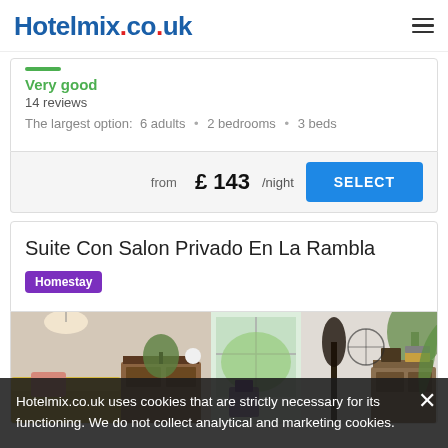Hotelmix.co.uk
Very good
14 reviews
The largest option: 6 adults • 2 bedrooms • 3 beds
from £ 143/night   SELECT
Suite Con Salon Privado En La Rambla
Homestay
[Figure (photo): Interior photo of a living room with plants, wooden furniture, and natural light from windows.]
Hotelmix.co.uk uses cookies that are strictly necessary for its functioning. We do not collect analytical and marketing cookies.